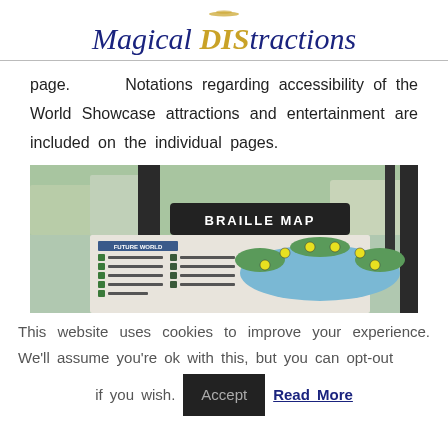Magical DIStractions
page.   Notations regarding accessibility of the World Showcase attractions and entertainment are included on the individual pages.
[Figure (photo): Photo of a Braille Map sign at EPCOT, showing a tactile map of Future World with section labels.]
This website uses cookies to improve your experience. We'll assume you're ok with this, but you can opt-out if you wish. Accept   Read More